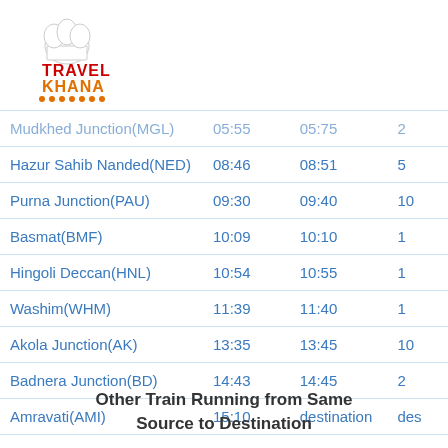[Figure (logo): Travel Khana logo with chef hat icon, red and orange text]
| Station | Arrival | Departure | Halt |
| --- | --- | --- | --- |
| Mudkhed Junction(MGL) | 05:55 | 05:75 | 2 |
| Hazur Sahib Nanded(NED) | 08:46 | 08:51 | 5 |
| Purna Junction(PAU) | 09:30 | 09:40 | 10 |
| Basmat(BMF) | 10:09 | 10:10 | 1 |
| Hingoli Deccan(HNL) | 10:54 | 10:55 | 1 |
| Washim(WHM) | 11:39 | 11:40 | 1 |
| Akola Junction(AK) | 13:35 | 13:45 | 10 |
| Badnera Junction(BD) | 14:43 | 14:45 | 2 |
| Amravati(AMI) | 15:10 | destination | des |
Other Train Running from Same Source to Destination